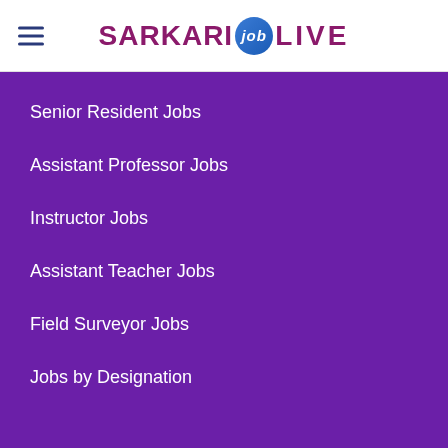SARKARI job LIVE
Senior Resident Jobs
Assistant Professor Jobs
Instructor Jobs
Assistant Teacher Jobs
Field Surveyor Jobs
Jobs by Designation